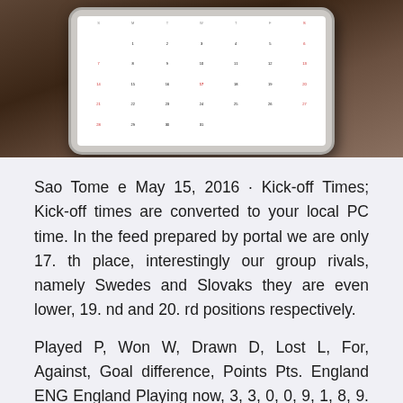[Figure (photo): Photo of a tablet device showing a calendar, placed on a dark wooden surface]
Sao Tome e May 15, 2016 · Kick-off Times; Kick-off times are converted to your local PC time. In the feed prepared by portal we are only 17. th place, interestingly our group rivals, namely Swedes and Slovaks they are even lower, 19. nd and 20. rd positions respectively.
Played P, Won W, Drawn D, Lost L, For, Against, Goal difference, Points Pts. England ENG England Playing now, 3, 3, 0, 0, 9, 1, 8, 9. Hungary HUN Hungary Получите отличные билеты на Czech Republic vs England - UEFA Euro 2020 22/06/2021 по отличным ценам, официальные билеты,  Вы хотите купить